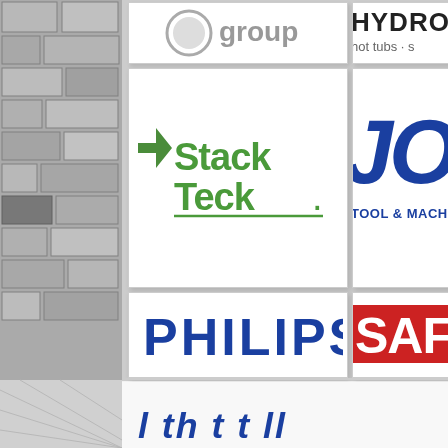[Figure (logo): Partial logo showing 'group' text with circular emblem]
[Figure (logo): Partial HYDRO logo with 'hot tubs' text]
[Figure (logo): StackTeck logo with green arrow and green/grey text]
[Figure (logo): TOO TOOL & MACHINE partial logo in blue italic]
[Figure (logo): PHILIPS logo in blue bold text]
[Figure (logo): SAF partial logo in red block letters]
bottom text partial (blue italic)